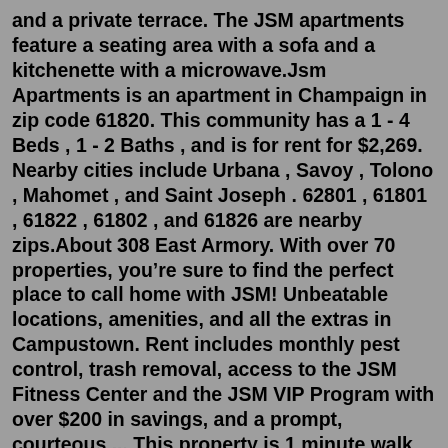and a private terrace. The JSM apartments feature a seating area with a sofa and a kitchenette with a microwave.Jsm Apartments is an apartment in Champaign in zip code 61820. This community has a 1 - 4 Beds , 1 - 2 Baths , and is for rent for $2,269. Nearby cities include Urbana , Savoy , Tolono , Mahomet , and Saint Joseph . 62801 , 61801 , 61822 , 61802 , and 61826 are nearby zips.About 308 East Armory. With over 70 properties, you’re sure to find the perfect place to call home with JSM! Unbeatable locations, amenities, and all the extras in Campustown. Rent includes monthly pest control, trash removal, access to the JSM Fitness Center and the JSM VIP Program with over $200 in savings, and a prompt, courteous ... This property is 1 minute walk from the beach. JSM Apartamentos is located in Benalmádena, just 150 feet from Malapesquera Beach and 350 feet from Benalmádena Marina. It offers apartments with a TV and a private terrace. The JSM apartments feature a seating area with a sofa and a kitchenette with a microwave. For beach...